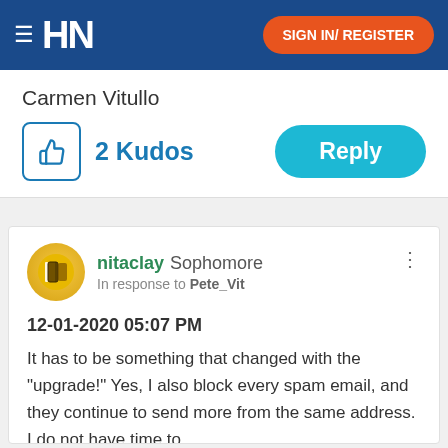HN | SIGN IN/ REGISTER
Carmen Vitullo
2 Kudos
Reply
nitaclay Sophomore
In response to Pete_Vit
12-01-2020 05:07 PM
It has to be something that changed with the "upgrade!" Yes, I also block every spam email, and they continue to send more from the same address. I do not have time to